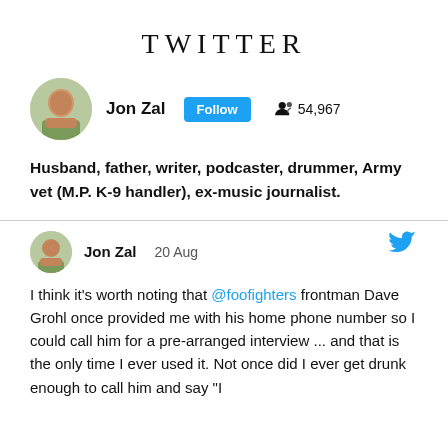TWITTER
Jon Zal   Follow   54,967
Husband, father, writer, podcaster, drummer, Army vet (M.P. K-9 handler), ex-music journalist.
Jon Zal  20 Aug
I think it's worth noting that @foofighters frontman Dave Grohl once provided me with his home phone number so I could call him for a pre-arranged interview ... and that is the only time I ever used it. Not once did I ever get drunk enough to call him and say "I